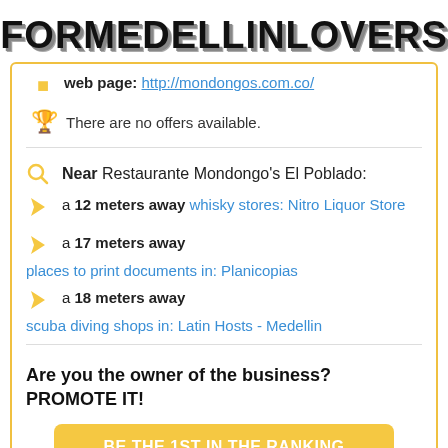FORMEDELLINLOVERS
web page: http://mondongos.com.co/
There are no offers available.
Near Restaurante Mondongo's El Poblado:
a 12 meters away whisky stores: Nitro Liquor Store
a 17 meters away places to print documents in: Planicopias
a 18 meters away scuba diving shops in: Latin Hosts - Medellin
Are you the owner of the business? PROMOTE IT!
BE THE 1ST IN THE RANKING